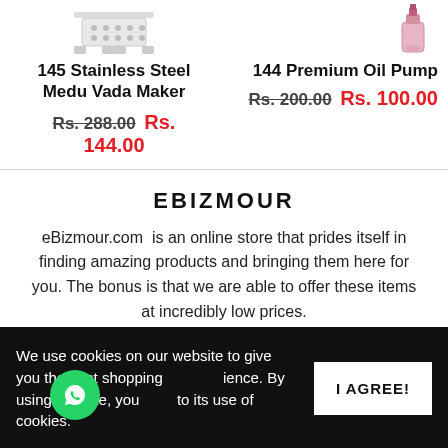[Figure (photo): Product image of Stainless Steel Medu Vada Maker (partially cropped at top)]
145 Stainless Steel Medu Vada Maker
Rs. 288.00 Rs. 144.00
[Figure (photo): Product image of Premium Oil Pump (partially cropped at top)]
144 Premium Oil Pump
Rs. 200.00 Rs. 100.00
EBIZMOUR
eBizmour.com is an online store that prides itself in finding amazing products and bringing them here for you. The bonus is that we are able to offer these items at incredibly low prices.
We use cookies on our website to give you the best shopping experience. By using this site, you to its use of cookies.